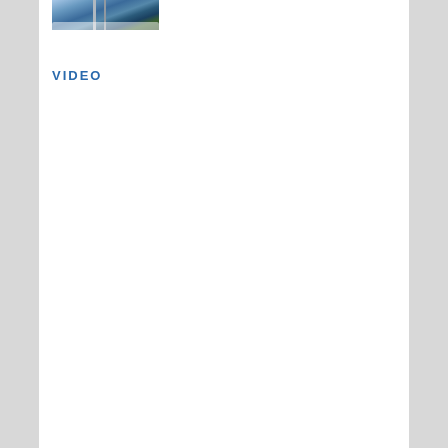[Figure (photo): Partial photo showing ski lift poles or cable car infrastructure against a snowy mountain backdrop with trees]
VIDEO